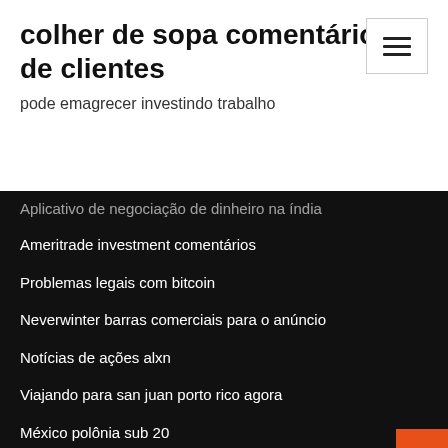colher de sopa comentários de clientes
pode emagrecer investindo trabalho
Aplicativo de negociação de dinheiro na índia
Ameritrade investment comentários
Problemas legais com bitcoin
Neverwinter barras comerciais para o anúncio
Notícias de ações alxn
Viajando para san juan porto rico agora
México polônia sub 20
O que é uma parada de compra no forex
Como pagar meu cartão de crédito de excesso de estoque